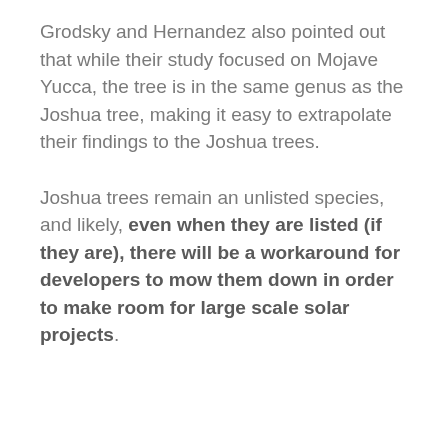Grodsky and Hernandez also pointed out that while their study focused on Mojave Yucca, the tree is in the same genus as the Joshua tree, making it easy to extrapolate their findings to the Joshua trees.
Joshua trees remain an unlisted species, and likely, even when they are listed (if they are), there will be a workaround for developers to mow them down in order to make room for large scale solar projects.